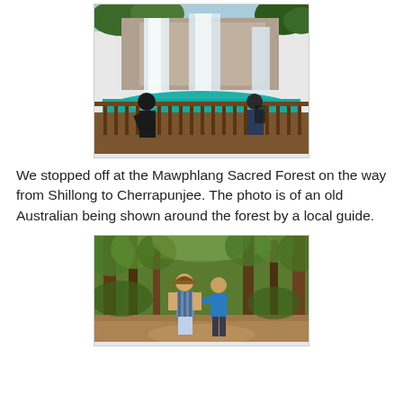[Figure (photo): Photo of a large waterfall cascading into a turquoise pool, with people standing on a wooden viewing deck in the foreground, surrounded by lush green trees.]
We stopped off at the Mawphlang Sacred Forest on the way from Shillong to Cherrapunjee. The photo is of an old Australian being shown around the forest by a local guide.
[Figure (photo): Photo of two people standing on a forest path surrounded by tall trees and green foliage. One person wears a wide-brimmed hat and striped shirt, the other wears a blue shirt.]